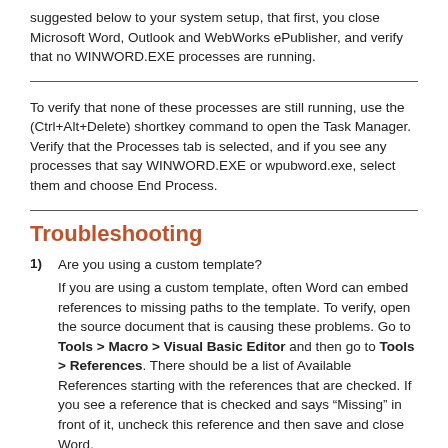suggested below to your system setup, that first, you close Microsoft Word, Outlook and WebWorks ePublisher, and verify that no WINWORD.EXE processes are running.
To verify that none of these processes are still running, use the (Ctrl+Alt+Delete) shortkey command to open the Task Manager. Verify that the Processes tab is selected, and if you see any processes that say WINWORD.EXE or wpubword.exe, select them and choose End Process.
Troubleshooting
1) Are you using a custom template?
If you are using a custom template, often Word can embed references to missing paths to the template. To verify, open the source document that is causing these problems. Go to Tools > Macro > Visual Basic Editor and then go to Tools > References. There should be a list of Available References starting with the references that are checked. If you see a reference that is checked and says “Missing” in front of it, uncheck this reference and then save and close Word.
2) Do you encounter this error on all documents consistently?
If not, there is something in your documents that is causing the crash and you will need to open a support case with the entire ePublisher project directory as well as a reduced version of the source document